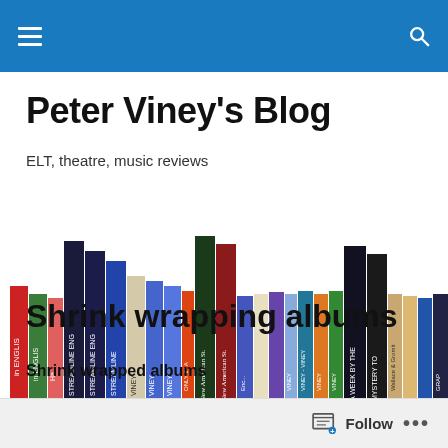Navigation bar with menu and search icons
Peter Viney's Blog
ELT, theatre, music reviews
[Figure (photo): A row of books on a shelf, including titles such as 'in English', 'Streamline', 'Viney', 'New American Streamline', 'A Week by the...', 'Mystery to...', 'Wallace & Gromit in...', and others, arranged as a bookshelf display.]
Shrink wrapping albums
Shrink wrapped albums
Follow •••